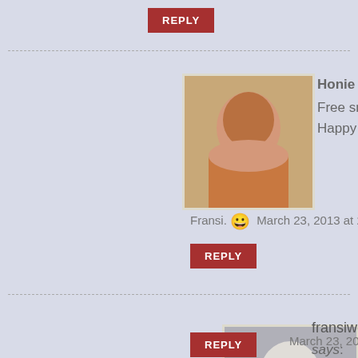REPLY
Honie Briggs says:
Free smiles for all! Happy springtime Fransi. 😀
March 23, 2013 at 2:09 pm
REPLY
fransiweinstein says:
Thx
March 23, 2013 at 2:10 pm
REPLY